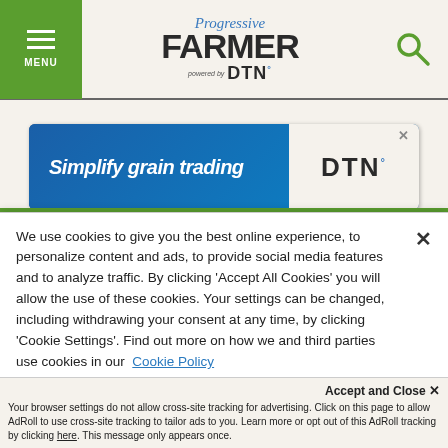MENU | Progressive FARMER powered by DTN
[Figure (infographic): Advertisement banner: 'Simplify grain trading' with DTN logo]
Related Content
We use cookies to give you the best online experience, to personalize content and ads, to provide social media features and to analyze traffic. By clicking 'Accept All Cookies' you will allow the use of these cookies. Your settings can be changed, including withdrawing your consent at any time, by clicking 'Cookie Settings'. Find out more on how we and third parties use cookies in our Cookie Policy
Accept and Close ×
Your browser settings do not allow cross-site tracking for advertising. Click on this page to allow AdRoll to use cross-site tracking to tailor ads to you. Learn more or opt out of this AdRoll tracking by clicking here. This message only appears once.